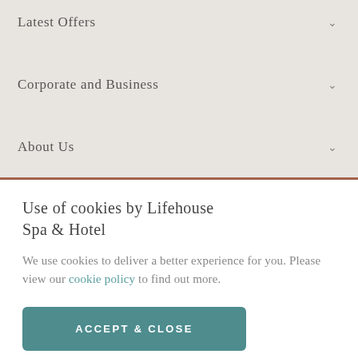Latest Offers
Corporate and Business
About Us
Use of cookies by Lifehouse Spa & Hotel
We use cookies to deliver a better experience for you. Please view our cookie policy to find out more.
ACCEPT & CLOSE